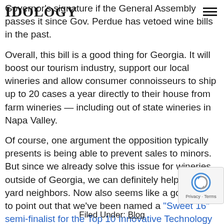IDology
Governor's signature if the General Assembly passes it since Gov. Perdue has vetoed wine bills in the past.
Overall, this bill is a good thing for Georgia. It will boost our tourism industry, support our local wineries and allow consumer connoisseurs to ship up to 20 cases a year directly to their house from farm wineries — including out of state wineries in Napa Valley.
Of course, one argument the opposition typically presents is being able to prevent sales to minors. But since we already solve this issue for wineries outside of Georgia, we can definitely help our back yard neighbors. Now also seems like a good time to point out that we've been named a "Sweet 16" semi-finalist for the Top 10 Innovative Technology Companies of Georgia because of our age and identity verification solutions. The winners will be announced next we
Filed Under: Blog